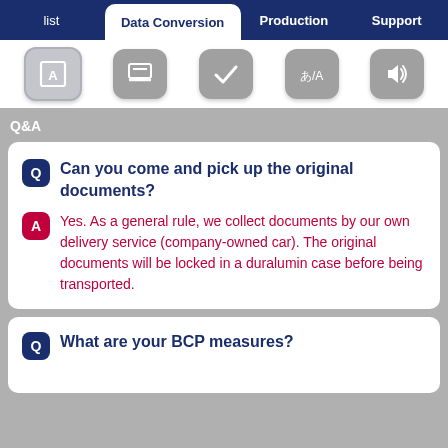list | Data Conversion | Production | Support
[Figure (screenshot): Toolbar with 5 icon buttons: document/A icon (selected), scanner icon, checkmark icon, あ/A language icon, speaker icon]
Q&A
Q Can you come and pick up the original documents?
A Yes. As a general rule, we collect documents by our own delivery service (company-owned car). The original documents will be locked in a duralumin case before being transported.
Q What are your BCP measures?